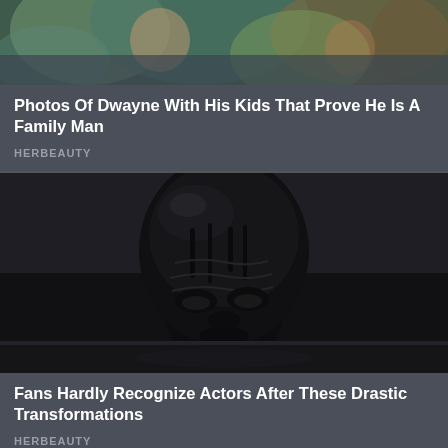[Figure (photo): Top portion of a photo showing Dwayne Johnson with kids, mostly cropped — dark/blurry upper area with partial figures visible]
Photos Of Dwayne With His Kids That Prove He Is A Family Man
HERBEAUTY
[Figure (photo): A person (actor) with their face and body covered entirely in thick black mud/paint, partially submerged, looking toward camera with intense expression]
Fans Hardly Recognize Actors After These Drastic Transformations
HERBEAUTY
[Figure (photo): Bottom card showing a woman in blue top with trees and blue sky in background]